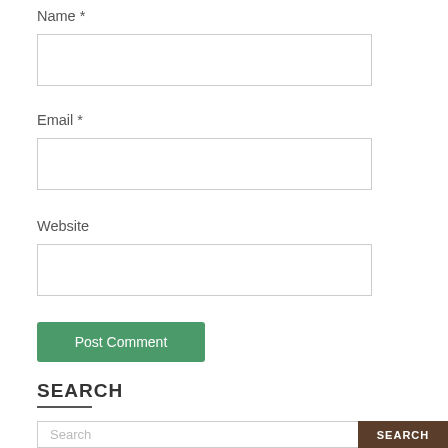Name *
[Figure (other): Empty text input field for Name]
Email *
[Figure (other): Empty text input field for Email]
Website
[Figure (other): Empty text input field for Website]
[Figure (other): Post Comment button (green)]
SEARCH
[Figure (other): Search input box with SEARCH button]